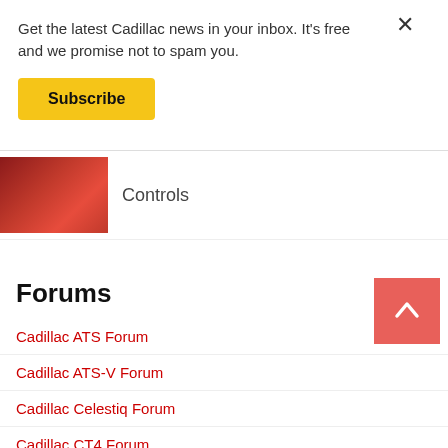Get the latest Cadillac news in your inbox. It's free and we promise not to spam you.
Subscribe
[Figure (photo): Thumbnail of a red Cadillac car]
Controls
Forums
Cadillac ATS Forum
Cadillac ATS-V Forum
Cadillac Celestiq Forum
Cadillac CT4 Forum
Cadillac CT4-V Blackwing Forum